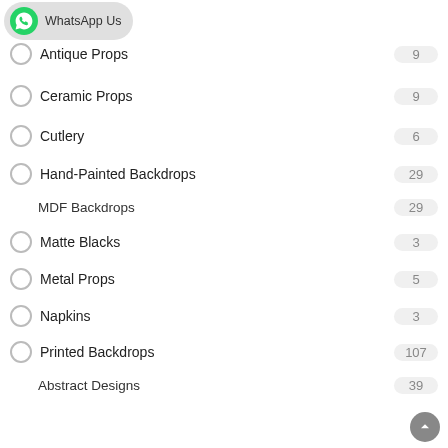[Figure (logo): WhatsApp Us button with green WhatsApp icon on grey rounded background]
Antique Props  9
Ceramic Props  9
Cutlery  6
Hand-Painted Backdrops  29
MDF Backdrops  29
Matte Blacks  3
Metal Props  5
Napkins  3
Printed Backdrops  107
Abstract Designs  39
Marble Designs  10
Plain Colors  17
Wall & Tile Designs  26
Wooden Designs  15
Top Offers  13